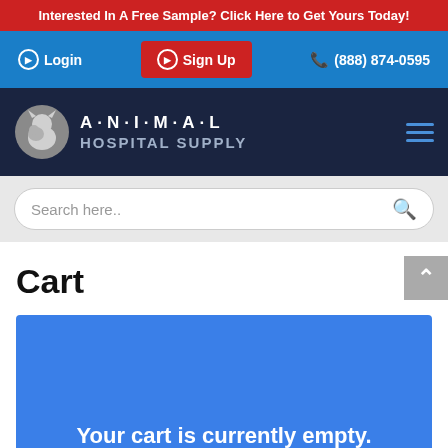Interested In A Free Sample? Click Here to Get Yours Today!
Login | Sign Up | (888) 874-0595
[Figure (logo): Animal Hospital Supply logo with animal silhouette icon and A·N·I·M·A·L HOSPITAL SUPPLY text on dark navy background with hamburger menu icon]
Search here..
Cart
Your cart is currently empty.